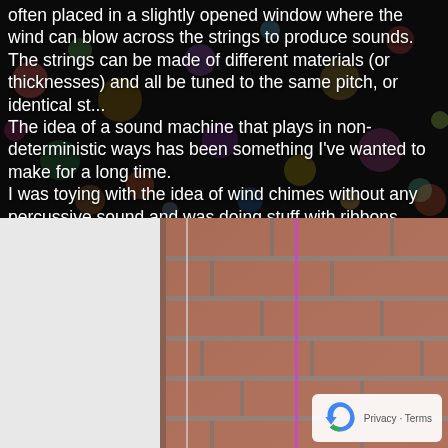often placed in a slightly opened window where the wind can blow across the strings to produce sounds. The strings can be made of different materials (or thicknesses) and all be tuned to the same pitch, or identical st...
The idea of a sound machine that plays in non-deterministic ways has been something I've wanted to make for a long time.
I was toying with the idea of wind chimes without any percussive sound and was doing stuff with ribbons outside.
[Figure (photo): Close-up photo of a brick wall corner with a thin purple/pink ribbon or string hanging down against the brick. White sky visible on the left side. A reCAPTCHA privacy badge visible in the bottom right corner.]